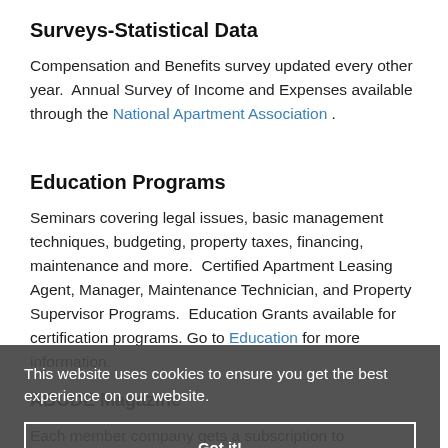Surveys-Statistical Data
Compensation and Benefits survey updated every other year.  Annual Survey of Income and Expenses available through the National Apartment Association .
Education Programs
Seminars covering legal issues, basic management techniques, budgeting, property taxes, financing, maintenance and more.  Certified Apartment Leasing Agent, Manager, Maintenance Technician, and Property Supervisor Programs.  Education Grants available for certification programs. Go to Education for more information.
ABODE Magazine
Each member company gets a subscription to
This website uses cookies to ensure you get the best experience on our website.
Got it!